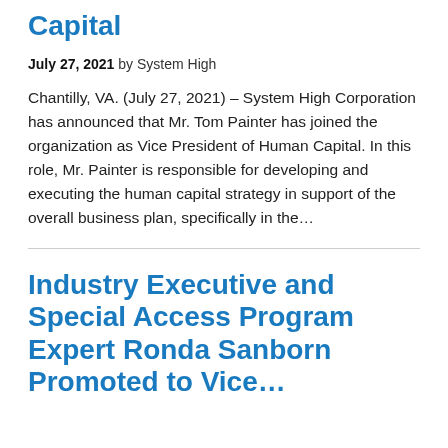Capital
July 27, 2021 by System High
Chantilly, VA. (July 27, 2021) – System High Corporation has announced that Mr. Tom Painter has joined the organization as Vice President of Human Capital. In this role, Mr. Painter is responsible for developing and executing the human capital strategy in support of the overall business plan, specifically in the…
Industry Executive and Special Access Program Expert Ronda Sanborn Promoted to Vice…